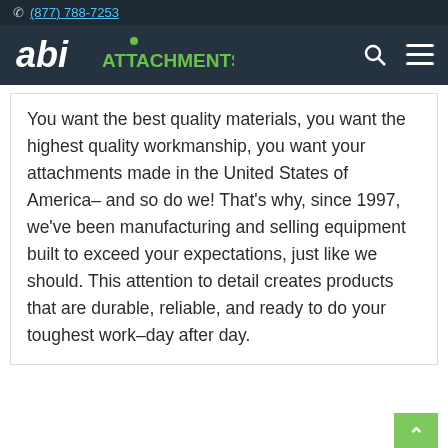(877) 788-7253
[Figure (logo): ABI Attachments logo with stylized 'abi' in white and 'ATTACHMENTS' in green, with search and menu icons]
You want the best quality materials, you want the highest quality workmanship, you want your attachments made in the United States of America– and so do we! That's why, since 1997, we've been manufacturing and selling equipment built to exceed your expectations, just like we should. This attention to detail creates products that are durable, reliable, and ready to do your toughest work–day after day.
[Figure (logo): ABI Attachments footer logo, partial view at bottom of page]